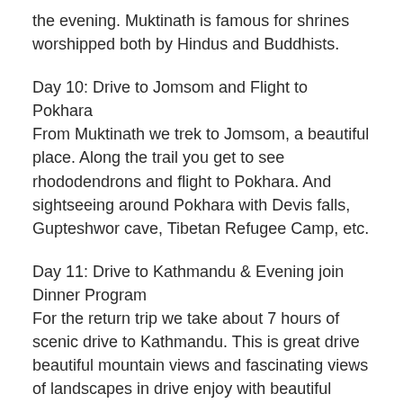the evening. Muktinath is famous for shrines worshipped both by Hindus and Buddhists.
Day 10: Drive to Jomsom and Flight to Pokhara From Muktinath we trek to Jomsom, a beautiful place. Along the trail you get to see rhododendrons and flight to Pokhara. And sightseeing around Pokhara with Devis falls, Gupteshwor cave, Tibetan Refugee Camp, etc.
Day 11: Drive to Kathmandu & Evening join Dinner Program For the return trip we take about 7 hours of scenic drive to Kathmandu. This is great drive beautiful mountain views and fascinating views of landscapes in drive enjoy with beautiful rivers and country side. And finally, join dinner program.
Day 12: Departure/Farawell Last day, you can either safely make return journey to home or you can join for another exciting adventure. And